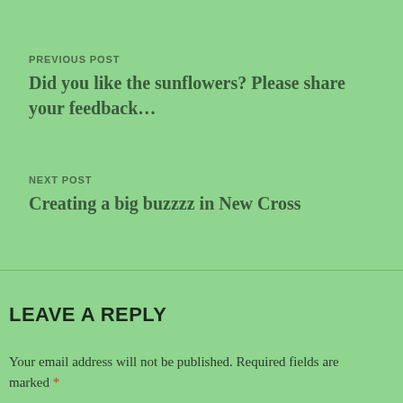PREVIOUS POST
Did you like the sunflowers? Please share your feedback...
NEXT POST
Creating a big buzzzz in New Cross
LEAVE A REPLY
Your email address will not be published. Required fields are marked *